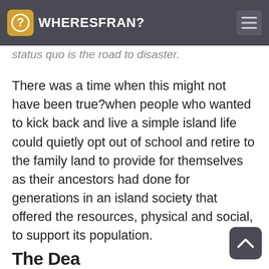WHERESFRAN?
status quo is the road to disaster.
There was a time when this might not have been true?when people who wanted to kick back and live a simple island life could quietly opt out of school and retire to the family land to provide for themselves as their ancestors had done for generations in an island society that offered the resources, physical and social, to support its population.
Read More
The Dea...